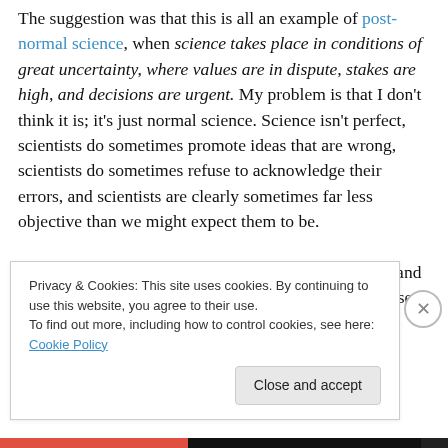The suggestion was that this is all an example of post-normal science, when science takes place in conditions of great uncertainty, where values are in dispute, stakes are high, and decisions are urgent. My problem is that I don't think it is; it's just normal science. Science isn't perfect, scientists do sometimes promote ideas that are wrong, scientists do sometimes refuse to acknowledge their errors, and scientists are clearly sometimes far less objective than we might expect them to be.

This might be more obvious when the stakes are high and decisions are urgent, but I don't think it's unique to these
Privacy & Cookies: This site uses cookies. By continuing to use this website, you agree to their use.
To find out more, including how to control cookies, see here: Cookie Policy
Close and accept